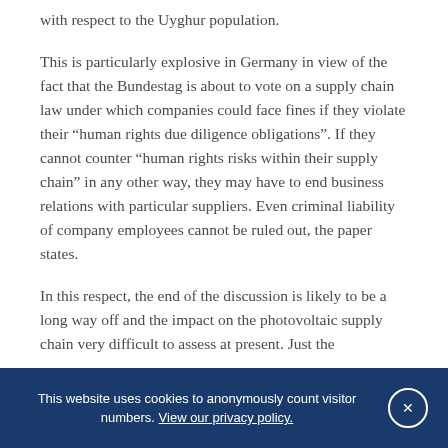with respect to the Uyghur population.
This is particularly explosive in Germany in view of the fact that the Bundestag is about to vote on a supply chain law under which companies could face fines if they violate their “human rights due diligence obligations”. If they cannot counter “human rights risks within their supply chain” in any other way, they may have to end business relations with particular suppliers. Even criminal liability of company employees cannot be ruled out, the paper states.
In this respect, the end of the discussion is likely to be a long way off and the impact on the photovoltaic supply chain very difficult to assess at present. Just the
This website uses cookies to anonymously count visitor numbers. View our privacy policy.